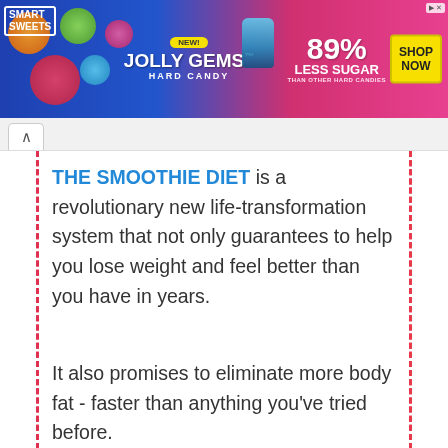[Figure (illustration): Smart Sweets Jolly Gems Hard Candy advertisement banner. Blue and pink gradient background with candy imagery. Text reads: SMART SWEETS, NEW!, JOLLY GEMS HARD CANDY, 89% LESS SUGAR THAN OTHER HARD CANDIES, SHOP NOW]
THE SMOOTHIE DIET is a revolutionary new life-transformation system that not only guarantees to help you lose weight and feel better than you have in years.
It also promises to eliminate more body fat - faster than anything you’ve tried before.
This Is NOT just a big book of smoothie recipes. You’re getting the same proven